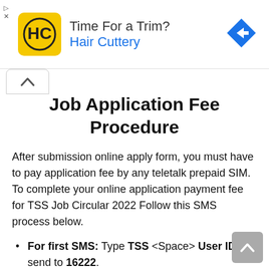[Figure (infographic): Advertisement banner for Hair Cuttery with yellow logo, text 'Time For a Trim?' and 'Hair Cuttery', and a blue navigation arrow icon on the right.]
Job Application Fee Procedure
After submission online apply form, you must have to pay application fee by any teletalk prepaid SIM. To complete your online application payment fee for TSS Job Circular 2022 Follow this SMS process below.
For first SMS: Type TSS <Space> User ID and send to 16222. Example: TSS BDCDB.